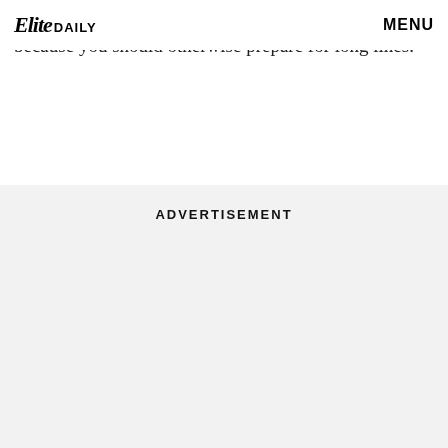Elite Daily | MENU
if you're one of them, consider yourselves lucky, because you should otherwise prepare for long lines.
ADVERTISEMENT